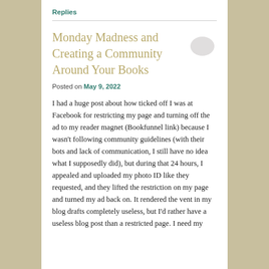Replies
Monday Madness and Creating a Community Around Your Books
Posted on May 9, 2022
I had a huge post about how ticked off I was at Facebook for restricting my page and turning off the ad to my reader magnet (Bookfunnel link) because I wasn't following community guidelines (with their bots and lack of communication, I still have no idea what I supposedly did), but during that 24 hours, I appealed and uploaded my photo ID like they requested, and they lifted the restriction on my page and turned my ad back on. It rendered the vent in my blog drafts completely useless, but I'd rather have a useless blog post than a restricted page. I need my